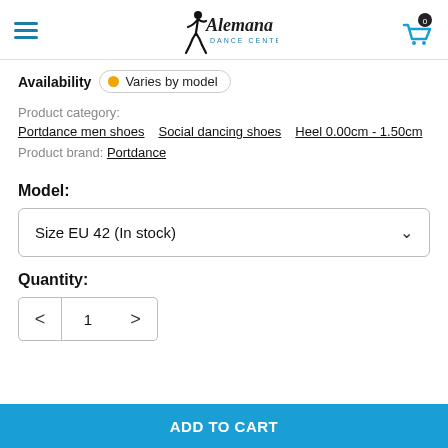Alemana Dance Center
Availability • Varies by model
Product category:
Portdance men shoes
Social dancing shoes
Heel 0.00cm - 1.50cm
Product brand: Portdance
Model:
Size EU 42 (In stock)
Quantity:
1
ADD TO CART